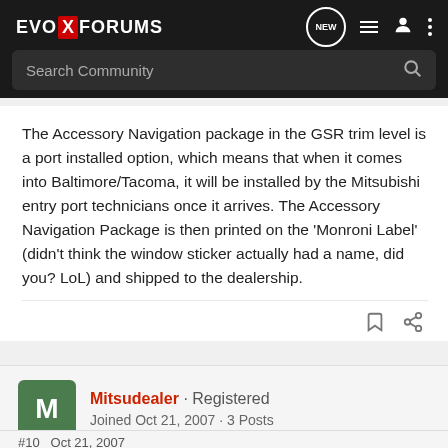EVO X FORUMS — Search Community
The Accessory Navigation package in the GSR trim level is a port installed option, which means that when it comes into Baltimore/Tacoma, it will be installed by the Mitsubishi entry port technicians once it arrives. The Accessory Navigation Package is then printed on the 'Monroni Label' (didn't think the window sticker actually had a name, did you? LoL) and shipped to the dealership.
Mitsudealer · Registered
Joined Oct 21, 2007 · 3 Posts
#10  Oct 21, 2007